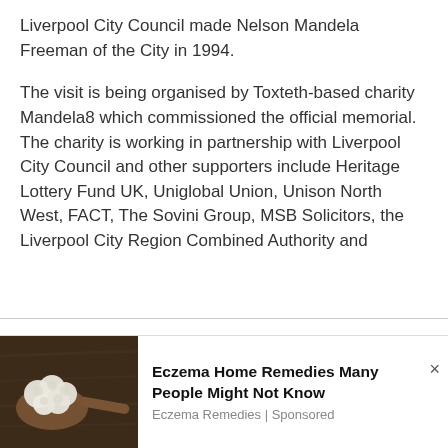Liverpool City Council made Nelson Mandela Freeman of the City in 1994.
The visit is being organised by Toxteth-based charity Mandela8 which commissioned the official memorial. The charity is working in partnership with Liverpool City Council and other supporters include Heritage Lottery Fund UK, Uniglobal Union, Unison North West, FACT, The Sovini Group, MSB Solicitors, the Liverpool City Region Combined Authority and
We use cookies on our website to give you the most relevant experience by remembering your preferences and repeat visits. By clicking “Accept All”, you consent to the use of ALL the cookies. However, you may visit "Cookie Settings" to provide a controlled consent.
[Figure (photo): Photo of white cauliflower on a wooden spoon against a dark wooden background]
Eczema Home Remedies Many People Might Not Know
Eczema Remedies | Sponsored